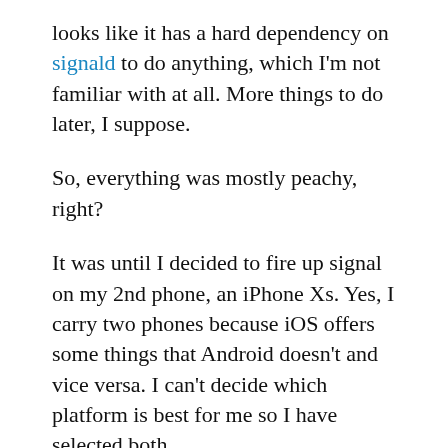looks like it has a hard dependency on signald to do anything, which I'm not familiar with at all. More things to do later, I suppose.
So, everything was mostly peachy, right?
It was until I decided to fire up signal on my 2nd phone, an iPhone Xs. Yes, I carry two phones because iOS offers some things that Android doesn't and vice versa. I can't decide which platform is best for me so I have selected both.
My iPhone has a different phone number, of course, so I plugged in my original phone number when starting up the iOS Signal app.